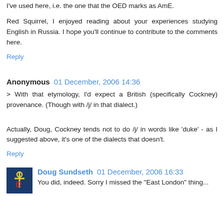I've used here, i.e. the one that the OED marks as AmE.
Red Squirrel, I enjoyed reading about your experiences studying English in Russia. I hope you'll continue to contribute to the comments here.
Reply
Anonymous 01 December, 2006 14:36
> With that etymology, I'd expect a British (specifically Cockney) provenance. (Though with /j/ in that dialect.)
Actually, Doug, Cockney tends not to do /j/ in words like 'duke' - as I suggested above, it's one of the dialects that doesn't.
Reply
Doug Sundseth 01 December, 2006 16:33
You did, indeed. Sorry I missed the "East London" thing...